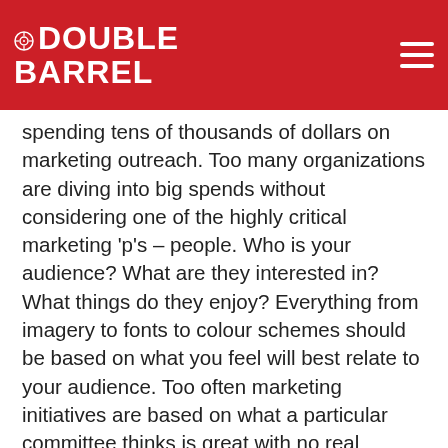Double Barrel
spending tens of thousands of dollars on marketing outreach. Too many organizations are diving into big spends without considering one of the highly critical marketing ‘p’s – people. Who is your audience? What are they interested in? What things do they enjoy? Everything from imagery to fonts to colour schemes should be based on what you feel will best relate to your audience. Too often marketing initiatives are based on what a particular committee thinks is great with no real thought to what your potential client or customer needs to see. Demographics should be your very first stop in determining any brand campaign. Be clear about WHO you’re targeting so that you can create the best campaign to reach them.
DO spend money on good graphic design. So many